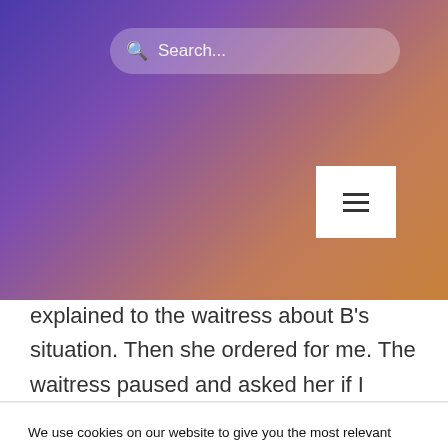[Figure (screenshot): Website header with gradient background (purple to orange), search bar with magnifying glass icon reading 'Search...', and a white hamburger menu button]
Bratislava. So K ordered for us she explained to the waitress about B's situation. Then she ordered for me. The waitress paused and asked her if I couldn't
We use cookies on our website to give you the most relevant experience by remembering your preferences and repeat visits. By clicking “Accept”, you consent to the use of ALL the cookies.
Do not sell my personal information.
Cookie Settings    Accept